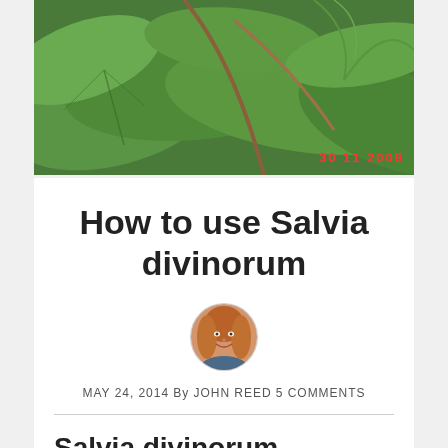[Figure (photo): Close-up photograph of large green leaves, possibly Salvia divinorum plant, with a timestamp '30 11 2008' in red in the lower right corner]
How to use Salvia divinorum
[Figure (photo): Circular avatar photo of a smiling woman with long blonde/auburn hair]
MAY 24, 2014 By JOHN REED 5 COMMENTS
Salvia divinorum – Traditional Method